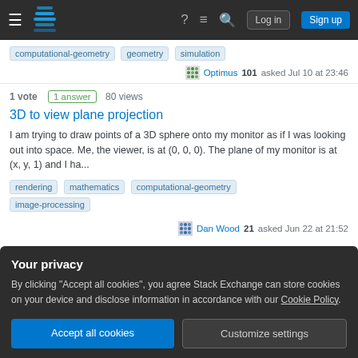Stack Exchange navigation bar with hamburger menu, logo, help, chat, search, Log in, Sign up buttons
computational-geometry   geometry   simulation
Optimus 101 asked Jul 10 at 23:46
1 vote  1 answer  80 views
3D to view plane projection
I am trying to draw points of a 3D sphere onto my monitor as if I was looking out into space. Me, the viewer, is at (0, 0, 0). The plane of my monitor is at (x, y, 1) and I ha...
rendering   mathematics   computational-geometry   image-processing
Dan Wood 21 asked Jun 22 at 21:52
Your privacy
By clicking "Accept all cookies", you agree Stack Exchange can store cookies on your device and disclose information in accordance with our Cookie Policy.
Accept all cookies   Customize settings
raytracing   glsl   mathematics   computational-geometry